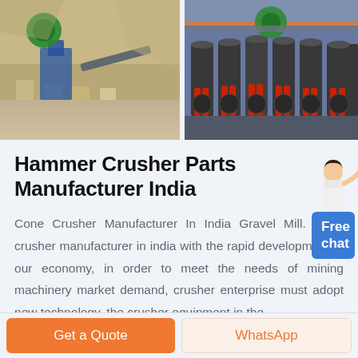[Figure (photo): Two photos side by side: left shows a mining/quarry site with crushing equipment and green circular logo overlay; right shows a row of large industrial cone crusher machines in a factory with red accents and green circular logo overlay.]
Hammer Crusher Parts Manufacturer India
Cone Crusher Manufacturer In India Gravel Mill. Cone crusher manufacturer in india with the rapid development of our economy, in order to meet the needs of mining machinery market demand, crusher enterprise must adopt new technology, the crusher equipment in the
Get a Quote   WhatsApp